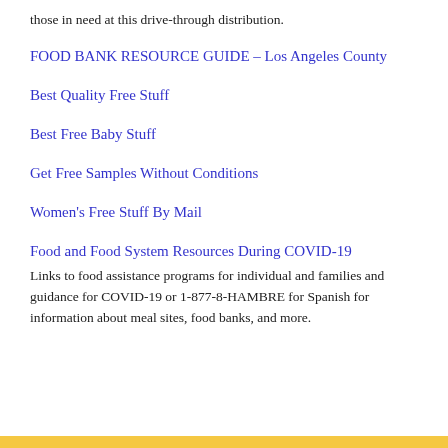those in need at this drive-through distribution.
FOOD BANK RESOURCE GUIDE – Los Angeles County
Best Quality Free Stuff
Best Free Baby Stuff
Get Free Samples Without Conditions
Women's Free Stuff By Mail
Food and Food System Resources During COVID-19
Links to food assistance programs for individual and families and guidance for COVID-19 or 1-877-8-HAMBRE for Spanish for information about meal sites, food banks, and more.